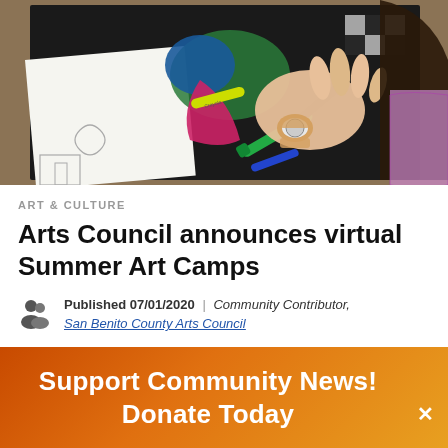[Figure (photo): Overhead view of a child's hands working on art projects. Dark paper with colorful chalk/crayon drawings including a bird-like figure and geometric shapes. Markers and a watch are visible on the child's wrist.]
ART & CULTURE
Arts Council announces virtual Summer Art Camps
Published 07/01/2020 | Community Contributor, San Benito County Arts Council
Support Community News! Donate Today